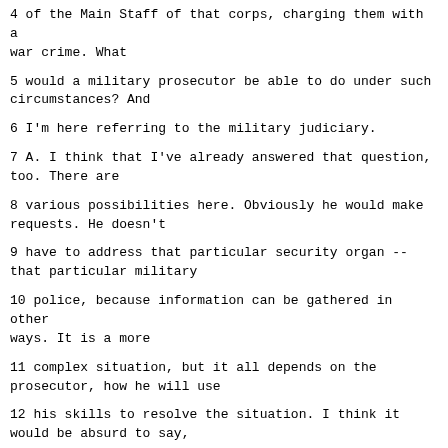4 of the Main Staff of that corps, charging them with a war crime. What
5 would a military prosecutor be able to do under such circumstances? And
6 I'm here referring to the military judiciary.
7 A. I think that I've already answered that question, too. There are
8 various possibilities here. Obviously he would make requests. He doesn't
9 have to address that particular security organ -- that particular military
10 police, because information can be gathered in other ways. It is a more
11 complex situation, but it all depends on the prosecutor, how he will use
12 his skills to resolve the situation. I think it would be absurd to say,
13 Oh my God, if a crime is committed by a member of security, we will forego
14 all other work. We won't file any criminal reports